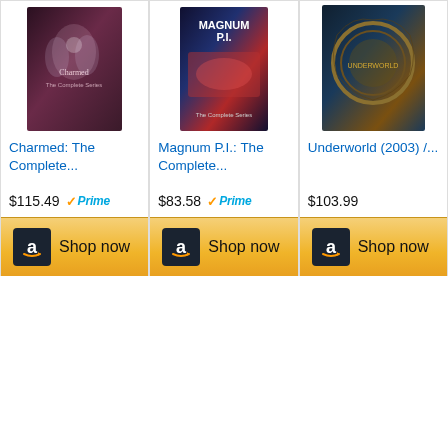[Figure (screenshot): Amazon product listing widget showing three DVD/Blu-ray products in a 3-column grid: Charmed: The Complete... at $115.49 with Prime badge, Magnum P.I.: The Complete... at $83.58 with Prime badge, Underworld (2003)/... at $103.99, each with a Shop now button featuring Amazon logo.]